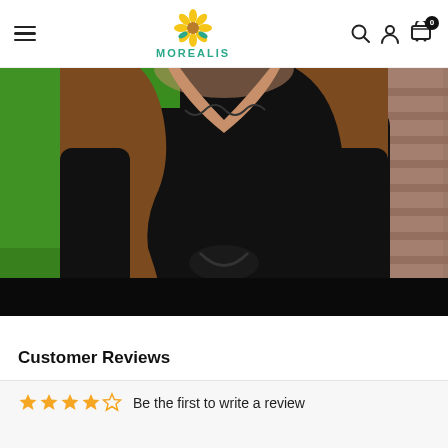MOREALIS
[Figure (photo): Woman wearing a black long-sleeve top with scalloped V-neckline and front knot detail, photographed outdoors with green grass and brick wall in background.]
Customer Reviews
Be the first to write a review